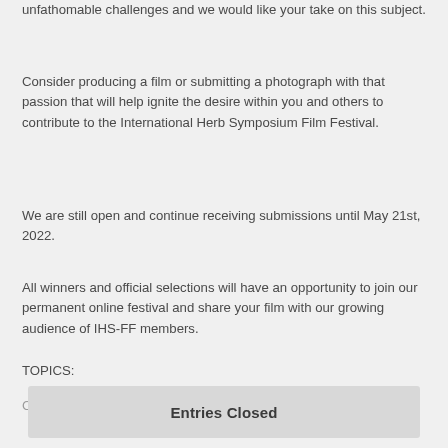unfathomable challenges and we would like your take on this subject.
Consider producing a film or submitting a photograph with that passion that will help ignite the desire within you and others to contribute to the International Herb Symposium Film Festival.
We are still open and continue receiving submissions until May 21st, 2022.
All winners and official selections will have an opportunity to join our permanent online festival and share your film with our growing audience of IHS-FF members.
TOPICS:
Conservation & Environmental Issues.
Entries Closed